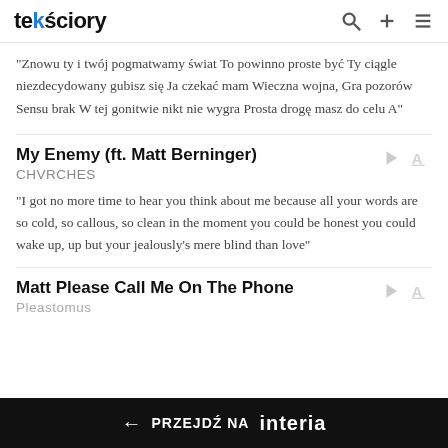tekściory
"Znowu ty i twój pogmatwamy świat To powinno proste być Ty ciągle niezdecydowany gubisz się Ja czekać mam Wieczna wojna, Gra pozorów Sensu brak W tej gonitwie nikt nie wygra Prosta drogę masz do celu A"
My Enemy (ft. Matt Berninger)
CHVRCHES
"I got no more time to hear you think about me because all your words are so cold, so callous, so clean in the moment you could be honest you could wake up, up but your jealously's mere blind than love"
Matt Please Call Me On The Phone
Pleastomus
← PRZEJDŹ NA interia